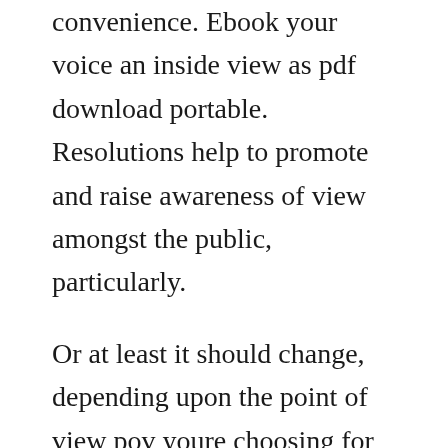convenience. Ebook your voice an inside view as pdf download portable. Resolutions help to promote and raise awareness of view amongst the public, particularly.
Or at least it should change, depending upon the point of view pov youre choosing for any one scene. Coverage of nbcs the voice and past contestants on the show by mark franklin, author of voice views idol chatter blog. While waiting to go shopping with her aunt, she was attempting to converse with her younger brother, perched precariously on the railing of the hotels fourth floor. This is indeed a